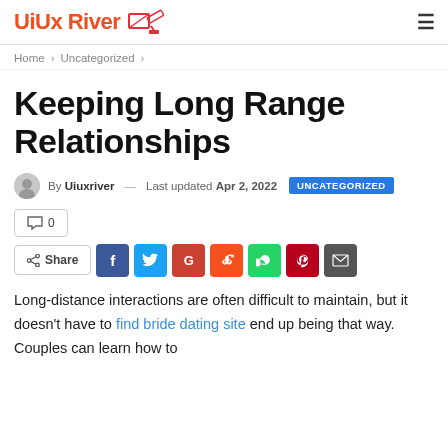UiUx River [logo] | hamburger menu
Home > Uncategorized >
Keeping Long Range Relationships
By Uiuxriver — Last updated Apr 2, 2022  UNCATEGORIZED
0 [comments]
Share [Facebook] [Twitter] [Google+] [Reddit] [WhatsApp] [Pinterest] [Email]
Long-distance interactions are often difficult to maintain, but it doesn't have to find bride dating site end up being that way. Couples can learn how to